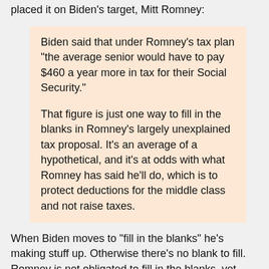placed it on Biden's target, Mitt Romney:
Biden said that under Romney's tax plan "the average senior would have to pay $460 a year more in tax for their Social Security."

That figure is just one way to fill in the blanks in Romney's largely unexplained tax proposal. It's an average of a hypothetical, and it's at odds with what Romney has said he'll do, which is to protect deductions for the middle class and not raise taxes.
When Biden moves to "fill in the blanks" he's making stuff up.  Otherwise there's no blank to fill.  Romney is not obligated to fill in the blanks, yet PolitiFact lets Biden skate essentially because Romney's failure to provide detail supposedly provides some justification for Biden making stuff up.
That's not fact checking, and it does not represent consistent adherence to PolitiFact's statement of principles.  It adds another brick to the edifice indicating a liberal bias at